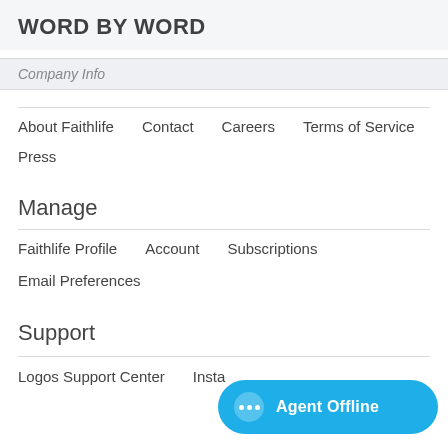WORD BY WORD
Company Info
About Faithlife
Contact
Careers
Terms of Service
Press
Manage
Faithlife Profile
Account
Subscriptions
Email Preferences
Support
Logos Support Center
Insta...
Agent Offline